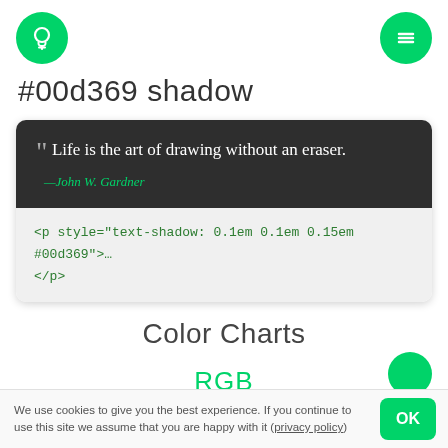Header with lightbulb icon and menu icon
#00d369 shadow
[Figure (screenshot): Dark card with quote: "Life is the art of drawing without an eraser." — John W. Gardner, followed by code snippet: <p style="text-shadow: 0.1em 0.1em 0.15em #00d369">… </p>]
Color Charts
RGB
We use cookies to give you the best experience. If you continue to use this site we assume that you are happy with it (privacy policy)